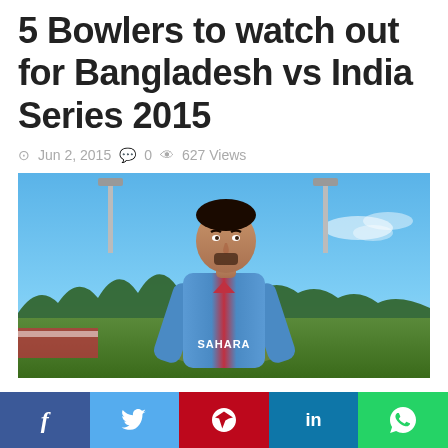5 Bowlers to watch out for Bangladesh vs India Series 2015
Jun 2, 2015  0  627 Views
[Figure (photo): A cricket player wearing a blue and red jersey with 'SAHARA' printed on it, standing on a cricket ground with floodlights and a cloudy sky in the background.]
The Indian team is all set to play its first International match after the loss in the World Cup semi final. They will tour Bangladesh for a short series with the
f  (Facebook)  t (Twitter)  (Pinterest)  in (LinkedIn)  (WhatsApp)